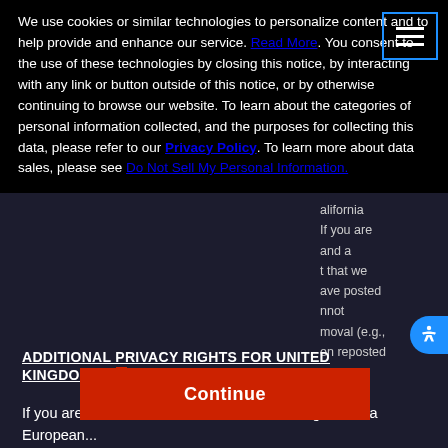We use cookies or similar technologies to personalize content and to help provide and enhance our service. Read More. You consent to the use of these technologies by closing this notice, by interacting with any link or button outside of this notice, or by otherwise continuing to browse our website. To learn about the categories of personal information collected, and the purposes for collecting this data, please refer to our Privacy Policy. To learn more about data sales, please see
Do Not Sell My Personal Information.
ADDITIONAL PRIVACY RIGHTS FOR UNITED KINGDOM AND...
If you are a user or a citizen of the United Kingdom or a European...